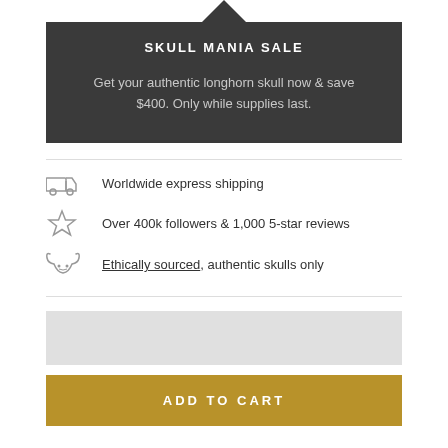SKULL MANIA SALE
Get your authentic longhorn skull now & save $400. Only while supplies last.
Worldwide express shipping
Over 400k followers & 1,000 5-star reviews
Ethically sourced, authentic skulls only
[Figure (other): Gray image strip/product image]
ADD TO CART